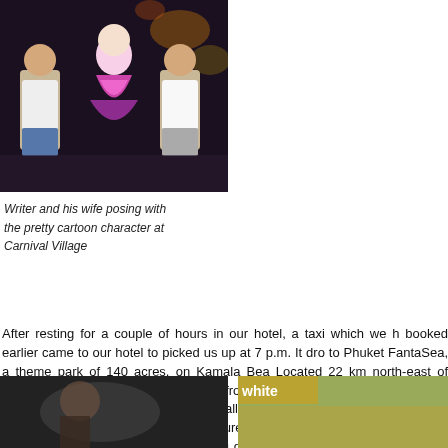[Figure (photo): Two people posing with a cartoon character in traditional Thai costume at Carnival Village, at night]
Writer and his wife posing with the pretty cartoon character at Carnival Village
After resting for a couple of hours in our hotel, a taxi which we h booked earlier came to our hotel to picked us up at 7 p.m. It dro to Phuket FantaSea, a theme park of 140 acres, on Kamala Bea Located 22 km north-east of Phuket Town and about 22 km by r from the town, Phuket FantaSea is a beautiful and awesome pla visitors of all ages. It showcases the beauty and charm of the T rich and colourful culture and heritage. It offers a variety of activ such as shopping, dining, playing games, watching parades, str shows and live bands, enjoying elephant rides, and many more
[Figure (photo): Partial photo at bottom left, dark toned image]
[Figure (photo): Partial photo at bottom right showing green and yellow tones, with text 'write' visible]